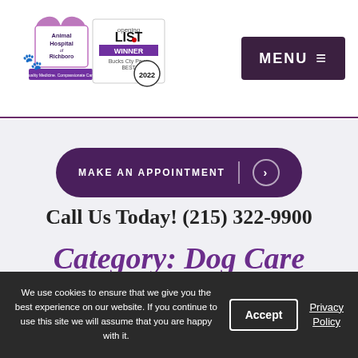[Figure (logo): Animal Hospital of Richboro logo with heart shape and cats/dogs silhouettes, alongside a 'Perkasie Area Best of 2022' award badge and 'Opening List WINNER' text]
MENU ≡
MAKE AN APPOINTMENT >
Call Us Today! (215) 322-9900
Category: Dog Care
We use cookies to ensure that we give you the best experience on our website. If you continue to use this site we will assume that you are happy with it.
Accept
Privacy Policy